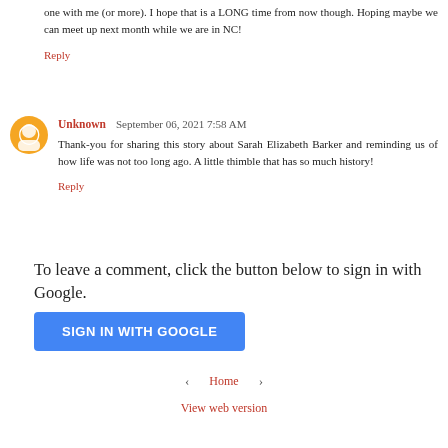one with me (or more). I hope that is a LONG time from now though. Hoping maybe we can meet up next month while we are in NC!
Reply
Unknown   September 06, 2021 7:58 AM
Thank-you for sharing this story about Sarah Elizabeth Barker and reminding us of how life was not too long ago. A little thimble that has so much history!
Reply
To leave a comment, click the button below to sign in with Google.
[Figure (other): Blue 'SIGN IN WITH GOOGLE' button]
‹   Home   ›
View web version